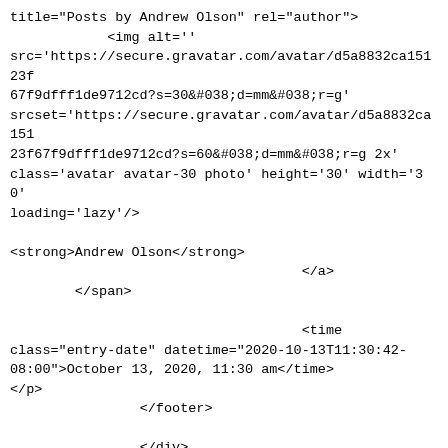title="Posts by Andrew Olson" rel="author">
            <img alt=''
src='https://secure.gravatar.com/avatar/d5a8832ca15123f
67f9dfff1de9712cd?s=30&#038;d=mm&#038;r=g'
srcset='https://secure.gravatar.com/avatar/d5a8832ca151
23f67f9dfff1de9712cd?s=60&#038;d=mm&#038;r=g 2x'
class='avatar avatar-30 photo' height='30' width='30'
loading='lazy'/>

<strong>Andrew Olson</strong>
                                    </a>
        </span>

                                    <time
class="entry-date" datetime="2020-10-13T11:30:42-
08:00">October 13, 2020, 11:30 am</time>
</p>
                </footer>

                </div>
</article>
                                            </li>


                                            <li
class="g1-collection-item g1-collection-item-1of3">

<article class="entry-tpl-grid entry-tpl-grid-m post-
11613 post type-post status-publish format-standard
has-post-thumbnail category-main-dish category-side-
dish"